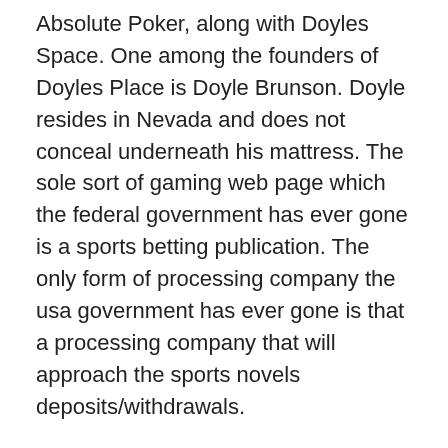Absolute Poker, along with Doyles Space. One among the founders of Doyles Place is Doyle Brunson. Doyle resides in Nevada and does not conceal underneath his mattress. The sole sort of gaming web page which the federal government has ever gone is a sports betting publication. The only form of processing company the usa government has ever gone is that a processing company that will approach the sports novels deposits/withdrawals.
If you ever wished to get involved with the on-line gambling industry and you happen to be described as a US citizen, then you might play the“sport” exceptionally protected by perhaps not doing one particular thing. Don’t simply take US gamers wagers.